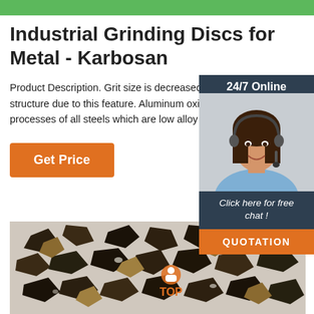[Figure (other): Green banner bar at top of page]
Industrial Grinding Discs for Metal - Karbosan
Product Description. Grit size is decreased compared to standard metal grinding discs. It has a more dense structure due to this feature. Aluminum oxide is used as abrasive. They are successful in grinding and processes of all steels which are low alloy and
[Figure (infographic): 24/7 Online chat panel with photo of woman with headset, 'Click here for free chat!' text, and orange QUOTATION button]
[Figure (photo): Close-up photo of dark abrasive grinding grit/particles on white background]
Get Price